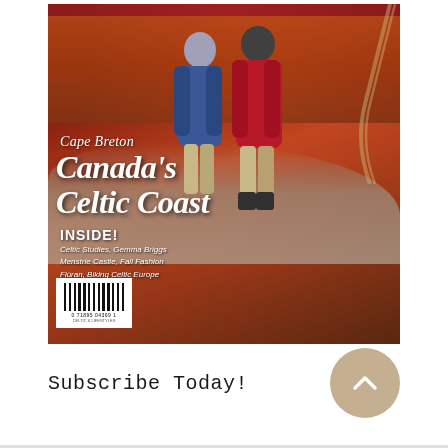[Figure (illustration): Magazine cover showing two people (wearing blue and red jackets) standing on rocky terrain overlooking a winding road through autumn foliage in Cape Breton. Text on cover reads 'Cape Breton Canada's Celtic Coast' with 'INSIDE! Celtic Studies, Gemma Briggs, Menstrie Castle, Fall Fashion, Fiùran, Biking Celtic Europe'. Barcode visible in lower left.]
Subscribe Today!